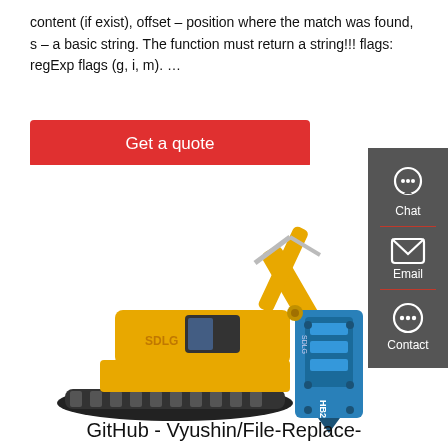content (if exist), offset – position where the match was found, s – a basic string. The function must return a string!!! flags: regExp flags (g, i, m). …
Get a quote
[Figure (photo): Yellow SDLG excavator with a blue hydraulic hammer attachment (HB200), shown on a white background. Sidebar with Chat, Email, Contact icons on the right.]
GitHub - Vyushin/File-Replace-